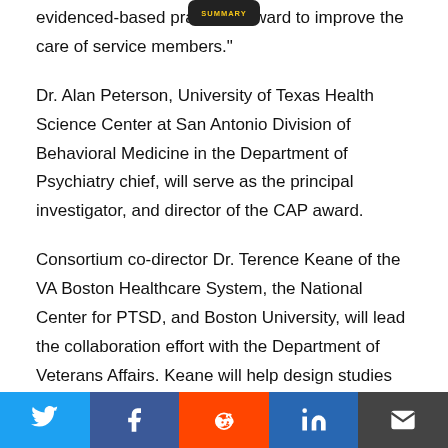[Figure (logo): Small dark badge/logo at top center of page]
evidenced-based practice forward to improve the care of service members."
Dr. Alan Peterson, University of Texas Health Science Center at San Antonio Division of Behavioral Medicine in the Department of Psychiatry chief, will serve as the principal investigator, and director of the CAP award.
Consortium co-director Dr. Terence Keane of the VA Boston Healthcare System, the National Center for PTSD, and Boston University, will lead the collaboration effort with the Department of Veterans Affairs. Keane will help design studies that
[Figure (infographic): Social media share bar at bottom with Twitter, Facebook, Reddit, LinkedIn, and Email buttons]